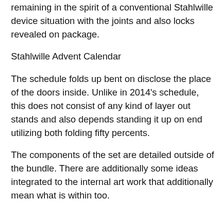remaining in the spirit of a conventional Stahlwille device situation with the joints and also locks revealed on package.
Stahlwille Advent Calendar
The schedule folds up bent on disclose the place of the doors inside. Unlike in 2014's schedule, this does not consist of any kind of layer out stands and also depends standing it up on end utilizing both folding fifty percents.
The components of the set are detailed outside of the bundle. There are additionally some ideas integrated to the internal art work that additionally mean what is within too.